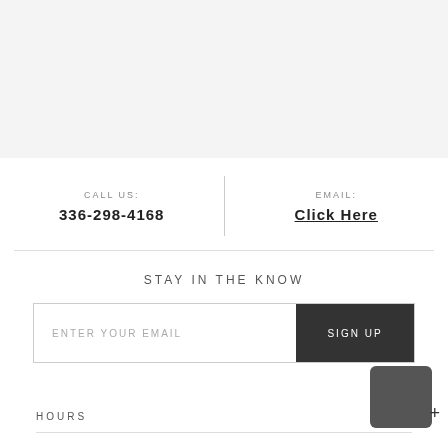[Figure (other): Gray background banner area at the top of the page]
CALL US:
336-298-4168
EMAIL:
Click Here
STAY IN THE KNOW
ENTER YOUR EMAIL
SIGN UP
HOURS